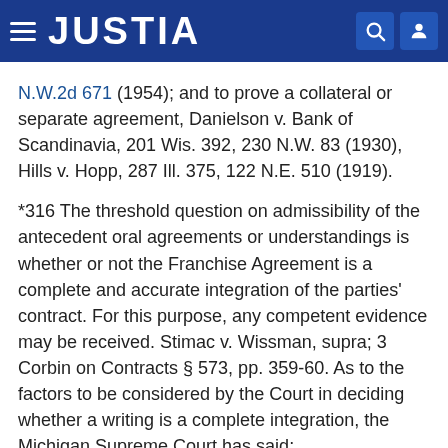JUSTIA
N.W.2d 671 (1954); and to prove a collateral or separate agreement, Danielson v. Bank of Scandinavia, 201 Wis. 392, 230 N.W. 83 (1930), Hills v. Hopp, 287 Ill. 375, 122 N.E. 510 (1919).
*316 The threshold question on admissibility of the antecedent oral agreements or understandings is whether or not the Franchise Agreement is a complete and accurate integration of the parties' contract. For this purpose, any competent evidence may be received. Stimac v. Wissman, supra; 3 Corbin on Contracts § 573, pp. 359-60. As to the factors to be considered by the Court in deciding whether a writing is a complete integration, the Michigan Supreme Court has said:
"The test of the completeness of the writing proposed as a contract is the writing itself; so if it bears evidence of careful preparation, of a deliberate regard for the use...